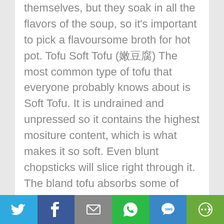themselves, but they soak in all the flavors of the soup, so it's important to pick a flavoursome broth for hot pot. Tofu Soft Tofu (嫩豆腐) The most common type of tofu that everyone probably knows about is Soft Tofu. It is undrained and unpressed so it contains the highest mositure content, which is what makes it so soft. Even blunt chopsticks will slice right through it. The bland tofu absorbs some of flavor in hot pot, so the soup and sauces are extremely important. Since tofu is already cooked, you just warm it up in the hot pot, making it gooey and delicious. Be careful, it will be molten hot. Frozen Tofu (冻豆腐) When soft tofu gets frozen, the moisture crystalizes and
[Figure (other): Social sharing bar with icons for Twitter, Facebook, Email, WhatsApp, SMS, and More]